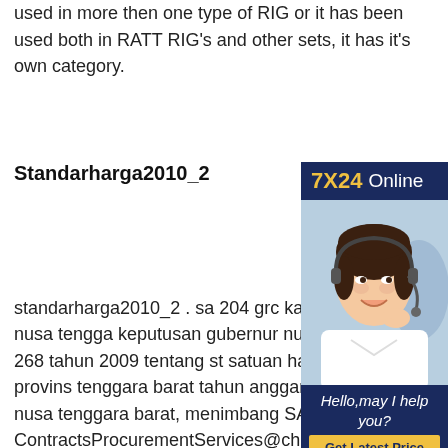used in more then one type of RIG or it has been used both in RATT RIG's and other sets, it has it's own category.
Standarharga2010_2
[Figure (infographic): Advertisement banner: '7X24 Online' header in dark blue and gold, photo of smiling woman with headset, 'Hello, may I help you?' text, and 'Get Latest Price' yellow button]
standarharga2010_2 . sa 204 grc kalsiboard gubernur nusa tengga keputusan gubernur nusa tengga nomor 268 tahun 2009 tentang st satuan harga pemerintah provins tenggara barat tahun anggaran 2 gubernur nusa tenggara barat, menimbang SA Tenders and ContractsProcurementServices@charlessturt.sa.gov. Description sa 204 grc kalsiboard Available by Download (204 KB) GRC - Concept - Site plan Version 1 (05/10/2018) Available by Download (370 KB) GRC - Concept 25044 Civil